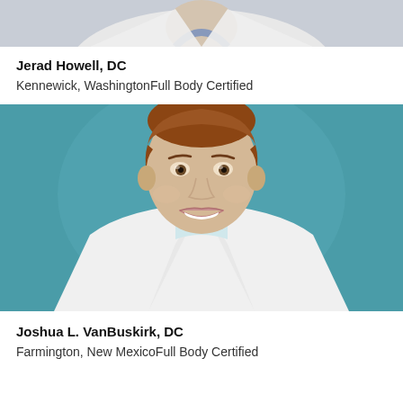[Figure (photo): Top portion of a person in a white lab coat, partial view cut off at top of page]
Jerad Howell, DC
Kennewick, WashingtonFull Body Certified
[Figure (photo): Professional headshot of Joshua L. VanBuskirk, DC, a smiling man with short auburn hair wearing a white lab coat, against a teal background]
Joshua L. VanBuskirk, DC
Farmington, New MexicoFull Body Certified